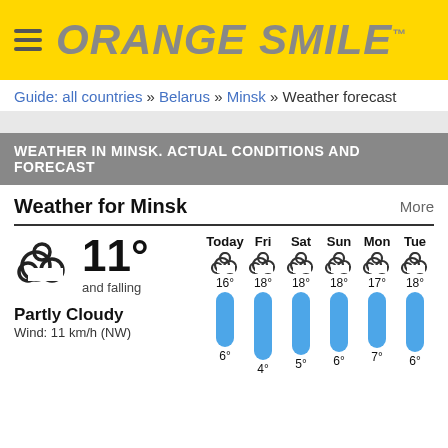ORANGE SMILE™
Guide: all countries » Belarus » Minsk » Weather forecast
WEATHER IN MINSK. ACTUAL CONDITIONS AND FORECAST
Weather for Minsk
[Figure (infographic): Current weather: partly cloudy icon, 11° and falling, Partly Cloudy, Wind: 11 km/h (NW). Forecast columns for Today (16°/6°), Fri (18°/4°), Sat (18°/5°), Sun (18°/6°), Mon (17°/7°), Tue (18°/6°) with partly cloudy icons and blue temperature bars.]